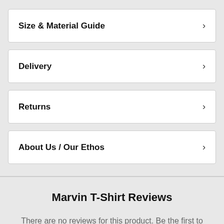Size & Material Guide
Delivery
Returns
About Us / Our Ethos
Marvin T-Shirt Reviews
There are no reviews for this product. Be the first to review.